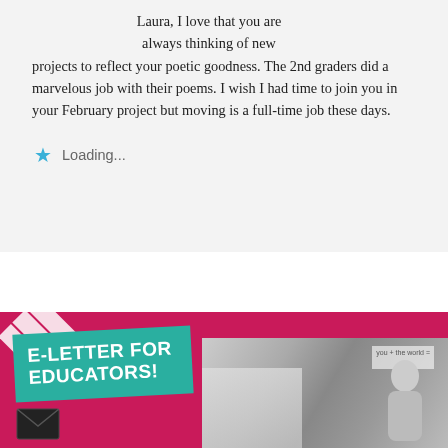Laura, I love that you are always thinking of new projects to reflect your poetic goodness. The 2nd graders did a marvelous job with their poems. I wish I had time to join you in your February project but moving is a full-time job these days.
Loading...
[Figure (illustration): E-Letter for Educators banner image with teal tag label on magenta/pink background, with black and white photo of a person smiling, an envelope icon, and diagonal white stripes in corner]